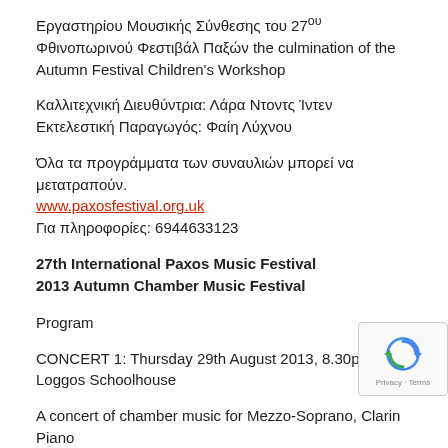Εργαστηρίου Μουσικής Σύνθεσης του 27ου Φθινοπωρινού Φεστιβάλ Παξών the culmination of the Autumn Festival Children's Workshop
Καλλιτεχνική Διευθύντρια: Λάρα Ντοντς Ίντεν
Εκτελεστική Παραγωγός: Φαίη Λύχνου
Όλα τα προγράμματα των συναυλιών μπορεί να μετατραπούν.
www.paxosfestival.org.uk
Για πληροφορίες: 6944633123
27th International Paxos Music Festival
2013 Autumn Chamber Music Festival
Program
CONCERT 1: Thursday 29th August 2013, 8.30pm – Loggos Schoolhouse
A concert of chamber music for Mezzo-Soprano, Clarinet and Piano